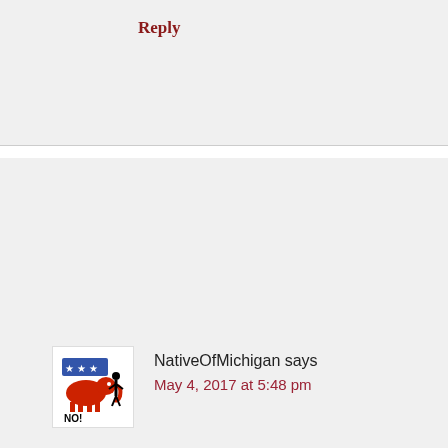Reply
NativeOfMichigan says
May 4, 2017 at 5:48 pm
FYI, an interesting article at foreignpolicy.com
“This Isn’t Realpolitik. This Is Amateur Hour.”
This article was written by Stephen M. Walt, a professor of international relations at Harvard University.